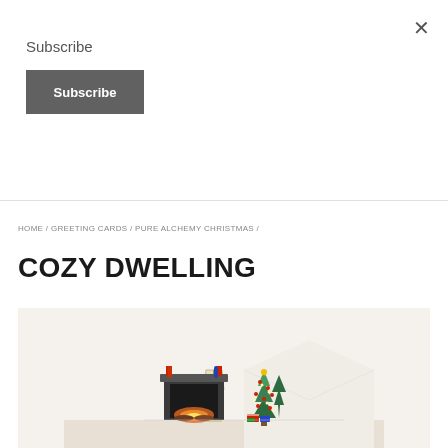Subscribe
Subscribe
×
HOME / GREETING CARDS / PURE ALCHEMY CHRISTMAS /
COZY DWELLING
[Figure (photo): Christmas greeting card product image showing a cozy dwelling scene with a decorated Christmas tree, a lamp, a fireplace mantel, and holiday decorations on a cream/beige background.]